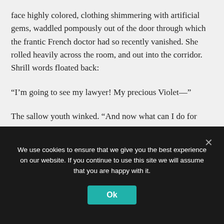face highly colored, clothing shimmering with artificial gems, waddled pompously out of the door through which the frantic French doctor had so recently vanished. She rolled heavily across the room, and out into the corridor. Shrill words floated back:
“I’m going to see my lawyer! My precious Violet—”
The sallow youth winked. “And now what can I do for you, Eric?”
“We want to go to Venus, if that ray of yours can put us
We use cookies to ensure that we give you the best experience on our website. If you continue to use this site we will assume that you are happy with it.